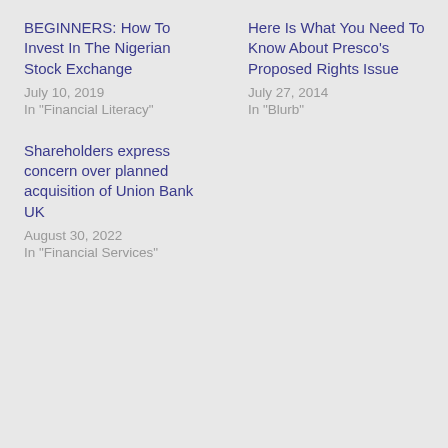BEGINNERS: How To Invest In The Nigerian Stock Exchange
July 10, 2019
In "Financial Literacy"
Here Is What You Need To Know About Presco's Proposed Rights Issue
July 27, 2014
In "Blurb"
Shareholders express concern over planned acquisition of Union Bank UK
August 30, 2022
In "Financial Services"